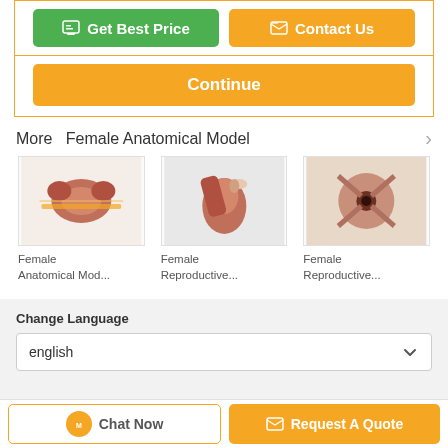[Figure (screenshot): Get Best Price button (green) and Contact Us button (orange)]
[Figure (screenshot): Continue button (orange)]
More  Female Anatomical Model
[Figure (photo): Female anatomical model photo showing uterus]
Female Anatomical Mod...
[Figure (photo): Female reproductive model photo]
Female Reproductive...
[Figure (photo): Female reproductive model photo]
Female Reproductive...
Change Language
english
[Figure (screenshot): Chat Now button and Request A Quote button at bottom]